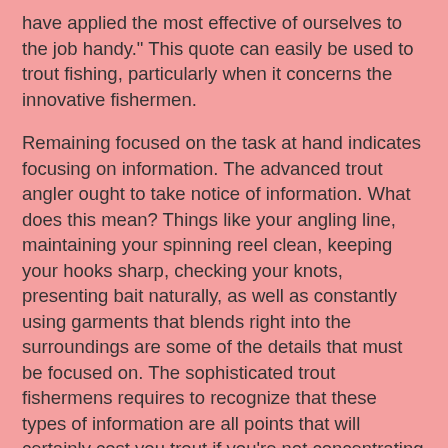have applied the most effective of ourselves to the job handy." This quote can easily be used to trout fishing, particularly when it concerns the innovative fishermen.
Remaining focused on the task at hand indicates focusing on information. The advanced trout angler ought to take notice of information. What does this mean? Things like your angling line, maintaining your spinning reel clean, keeping your hooks sharp, checking your knots, presenting bait naturally, as well as constantly using garments that blends right into the surroundings are some of the details that must be focused on. The sophisticated trout fishermens requires to recognize that these types of information are all points that will certainly cost you trout if you're not concentrating on them.
Let's start with your angling line, knots, as well as spinning reel. Every one of these things must be preserved. Just how? If you're fishing line is more than a number of months old, it requires to be changed. Certainly I'm presuming that you are utilizing angling line that's as light as feasible, appropriate? Of course you are, and light line should be